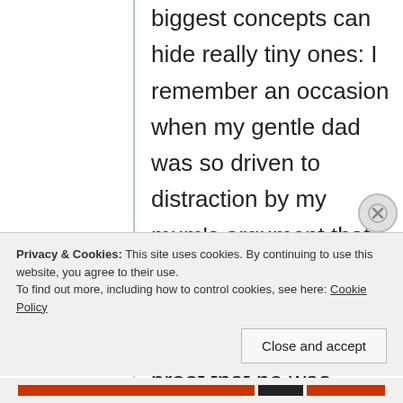biggest concepts can hide really tiny ones: I remember an occasion when my gentle dad was so driven to distraction by my mum's argument that he went off to consult an encyclopedia in order to furnish the proof that he was correct. He flourished it at her with a triumph I had never before seen on his face. My mum slowly read the encyclopedia entry and said 'It's
Privacy & Cookies: This site uses cookies. By continuing to use this website, you agree to their use.
To find out more, including how to control cookies, see here: Cookie Policy
Close and accept